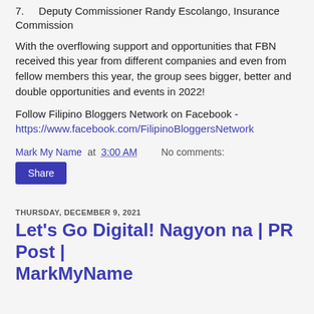7.    Deputy Commissioner Randy Escolango, Insurance Commission
With the overflowing support and opportunities that FBN received this year from different companies and even from fellow members this year, the group sees bigger, better and double opportunities and events in 2022!
Follow Filipino Bloggers Network on Facebook - https://www.facebook.com/FilipinoBloggersNetwork
Mark My Name at 3:00 AM    No comments:
Share
THURSDAY, DECEMBER 9, 2021
Let's Go Digital! Nagyon na | PR Post | MarkMyName